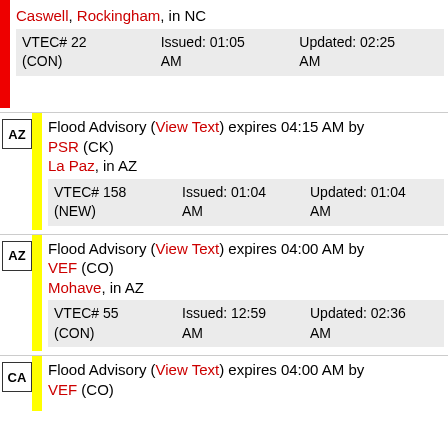Caswell, Rockingham, in NC — VTEC# 22 (CON) Issued: 01:05 AM Updated: 02:25 AM
AZ — Flood Advisory (View Text) expires 04:15 AM by PSR (CK) La Paz, in AZ — VTEC# 158 (NEW) Issued: 01:04 AM Updated: 01:04 AM
AZ — Flood Advisory (View Text) expires 04:00 AM by VEF (CO) Mohave, in AZ — VTEC# 55 (CON) Issued: 12:59 AM Updated: 02:36 AM
CA — Flood Advisory (View Text) expires 04:00 AM by VEF (CO)